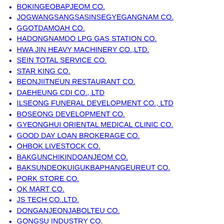BOKINGEOBAPJEOM CO.
JOGWANGSANGSASINSEGYEGANGNAM CO.
GGOTDAMOAH CO.
HADONGNAMDO LPG GAS STATION CO.
HWA JIN HEAVY MACHINERY CO.,LTD.
SEIN TOTAL SERVICE CO.
STAR KING CO.
BEONJIITNEUN RESTAURANT CO.
DAEHEUNG CDI CO., LTD
ILSEONG FUNERAL DEVELOPMENT CO., LTD
BOSEONG DEVELOPMENT CO.
GYEONGHUI ORIENTAL MEDICAL CLINIC CO.
GOOD DAY LOAN BROKERAGE CO.
OHBOK LIVESTOCK CO.
BAKGUNCHIKINDOANJEOM CO.
BAKSUNDEOKUIGUKBAPHANGEUREUT CO.
PORK STORE CO.
OK MART CO.
JS TECH CO.,LTD.
DONGANJEONJABOLTEU CO.
GONGSU INDUSTRY CO.
NAMSUNG GAS STATION
PASEUKUJJI BUNDANGAHREUMJEOM CO.
J-HOUSE CO., LTD.
NAM KANG TIMBER CO.,LTD